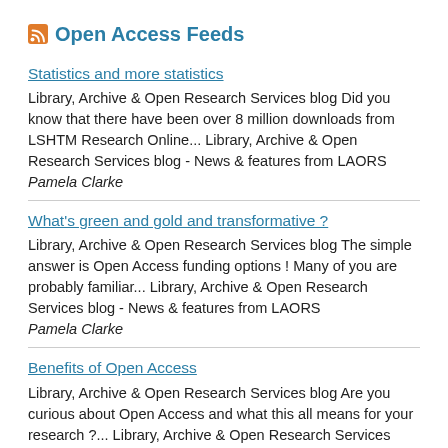Open Access Feeds
Statistics and more statistics
Library, Archive & Open Research Services blog Did you know that there have been over 8 million downloads from LSHTM Research Online... Library, Archive & Open Research Services blog - News & features from LAORS
Pamela Clarke
What's green and gold and transformative ?
Library, Archive & Open Research Services blog The simple answer is Open Access funding options ! Many of you are probably familiar... Library, Archive & Open Research Services blog - News & features from LAORS
Pamela Clarke
Benefits of Open Access
Library, Archive & Open Research Services blog Are you curious about Open Access and what this all means for your research ?... Library, Archive & Open Research Services blog -